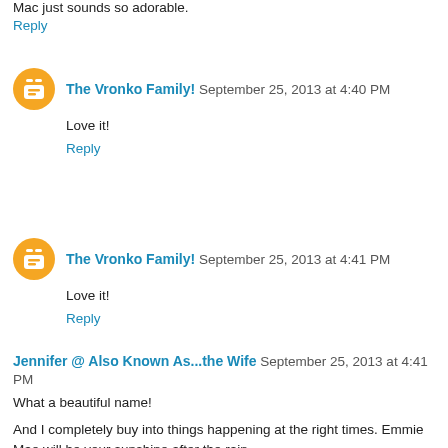Mac just sounds so adorable.
Reply
The Vronko Family!  September 25, 2013 at 4:40 PM
Love it!
Reply
The Vronko Family!  September 25, 2013 at 4:41 PM
Love it!
Reply
Jennifer @ Also Known As...the Wife  September 25, 2013 at 4:41 PM
What a beautiful name!
And I completely buy into things happening at the right times. Emmie Mae will be your sunshine after the rain.